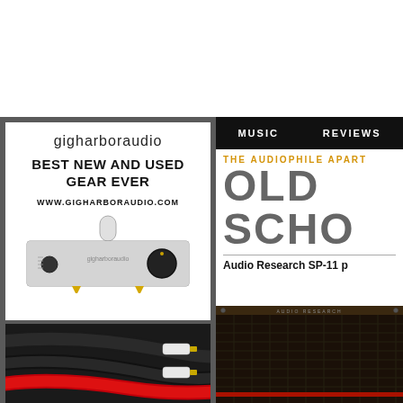[Figure (other): Top white banner area, cropped website header]
[Figure (other): Gig Harbor Audio advertisement card with brand name, tagline BEST NEW AND USED GEAR EVER, URL WWW.GIGHARBORAUDIO.COM, and image of an audio amplifier/preamplifier]
[Figure (photo): Close-up photo of black and red audio speaker cables with white connectors]
MUSIC   REVIEWS
THE AUDIOPHILE APART
OLD SCHO
Audio Research SP-11 p
[Figure (photo): Partial photo of a dark brown/black audio equipment component, likely a speaker or preamplifier]